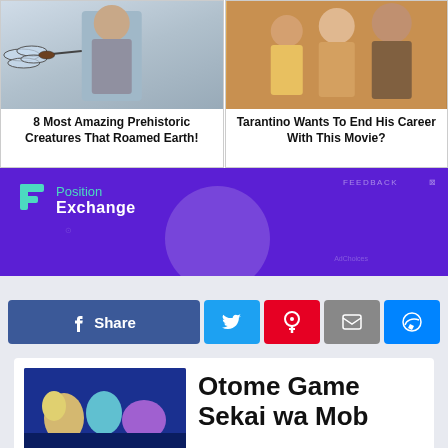[Figure (photo): Left card: person holding large dragonfly/prehistoric insect]
8 Most Amazing Prehistoric Creatures That Roamed Earth!
[Figure (photo): Right card: movie promotional image with three actors]
Tarantino Wants To End His Career With This Movie?
[Figure (logo): Position Exchange advertisement banner - purple background with logo]
[Figure (screenshot): Social share buttons: Facebook Share, Twitter, Pinterest, Email, Messenger]
[Figure (photo): Anime thumbnail image]
Otome Game Sekai wa Mob